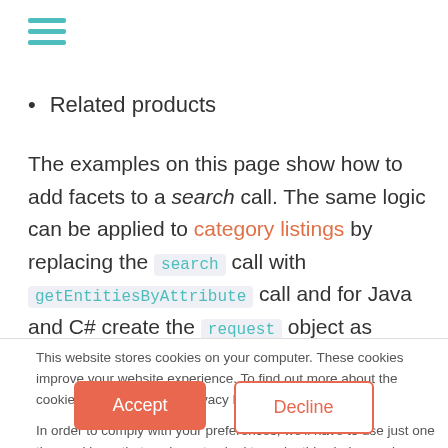[Figure (other): Hamburger menu icon with three teal horizontal lines]
Related products
The examples on this page show how to add facets to a search call. The same logic can be applied to category listings by replacing the search call with getEntitiesByAttribute call and for Java and C# create the request object as
This website stores cookies on your computer. These cookies improve your website experience. To find out more about the cookies we use, see our Privacy Policy.

In order to comply with your preferences, we'll have to use just one tiny cookie so that you're not asked to make this choice again.
Accept
Decline